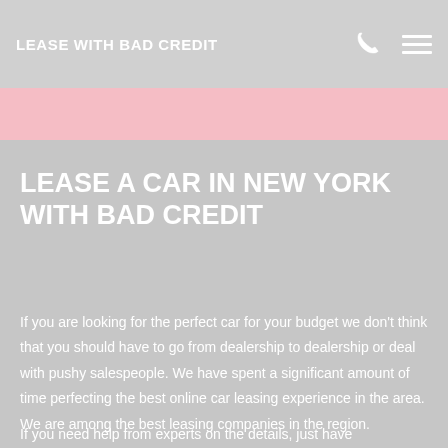LEASE WITH BAD CREDIT
LEASE A CAR IN NEW YORK WITH BAD CREDIT
If you are looking for the perfect car for your budget we don't think that you should have to go from dealership to dealership or deal with pushy salespeople. We have spent a significant amount of time perfecting the best online car leasing experience in the area. We are among the best leasing companies in the region.
If you need help from experts on the details, just have